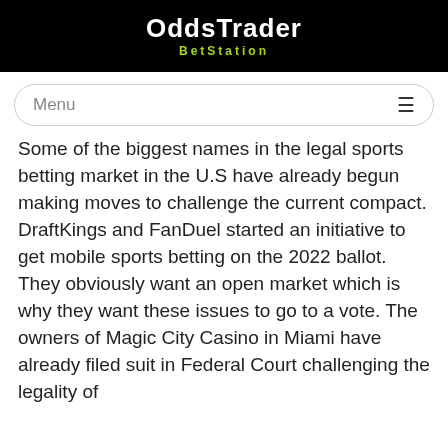OddsTrader BetStation
Menu
Some of the biggest names in the legal sports betting market in the U.S have already begun making moves to challenge the current compact. DraftKings and FanDuel started an initiative to get mobile sports betting on the 2022 ballot. They obviously want an open market which is why they want these issues to go to a vote. The owners of Magic City Casino in Miami have already filed suit in Federal Court challenging the legality of